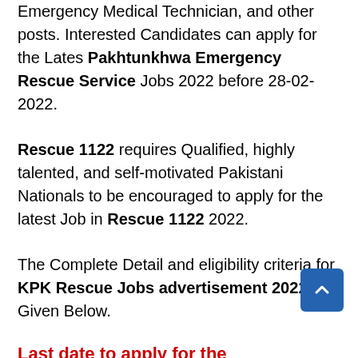Emergency Medical Technician, and other posts. Interested Candidates can apply for the Lates Pakhtunkhwa Emergency Rescue Service Jobs 2022 before 28-02-2022.
Rescue 1122 requires Qualified, highly talented, and self-motivated Pakistani Nationals to be encouraged to apply for the latest Job in Rescue 1122 2022.
The Complete Detail and eligibility criteria for KPK Rescue Jobs advertisement 2022 are Given Below.
Last date to apply for the Pakhtunkhwa